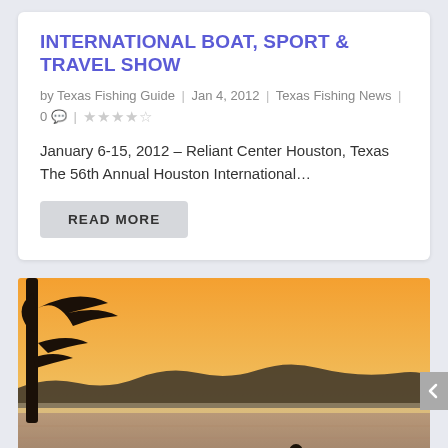INTERNATIONAL BOAT, SPORT & TRAVEL SHOW
by Texas Fishing Guide | Jan 4, 2012 | Texas Fishing News | 0 💬 | ★★★★☆
January 6-15, 2012 – Reliant Center Houston, Texas The 56th Annual Houston International…
READ MORE
[Figure (photo): Silhouette of a person standing on a fishing boat at sunset/sunrise on a lake, with a tree silhouette on the left and an orange sky and misty hills in the background.]